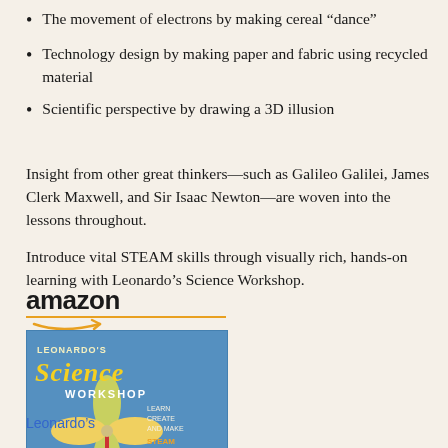The movement of electrons by making cereal “dance”
Technology design by making paper and fabric using recycled material
Scientific perspective by drawing a 3D illusion
Insight from other great thinkers—such as Galileo Galilei, James Clerk Maxwell, and Sir Isaac Newton—are woven into the lessons throughout.
Introduce vital STEAM skills through visually rich, hands-on learning with Leonardo’s Science Workshop.
[Figure (logo): Amazon logo with orange arrow underneath and orange underline bar]
[Figure (photo): Book cover of Leonardo's Science Workshop showing a blue background with pinwheel/fan illustration and colorful title text]
Leonardo’s